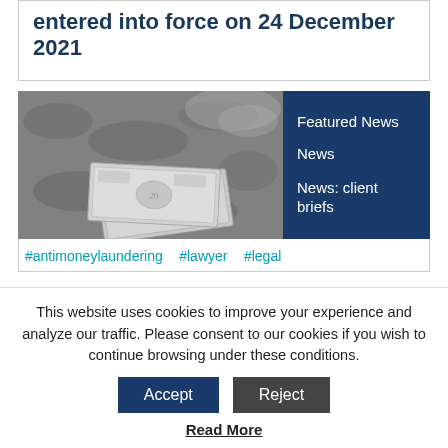entered into force on 24 December 2021
[Figure (photo): Black and white photo of US dollar bills on a rough concrete or stone surface, with a blurred hand or shadow visible at the top right.]
Featured News
News
News: client briefs
#antimoneylaundering   #lawyer   #legal
This website uses cookies to improve your experience and analyze our traffic. Please consent to our cookies if you wish to continue browsing under these conditions.
Accept   Reject
Read More